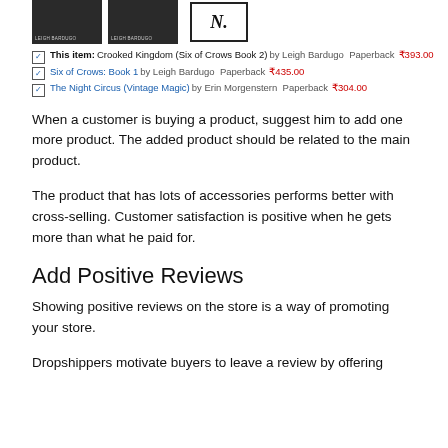[Figure (illustration): Three book cover thumbnails side by side: two dark covers with 'Leigh Bardugo' text and one white cover with 'N' letter, representing shopping cart items.]
This item: Crooked Kingdom (Six of Crows Book 2) by Leigh Bardugo Paperback ₹393.00
Six of Crows: Book 1 by Leigh Bardugo Paperback ₹435.00
The Night Circus (Vintage Magic) by Erin Morgenstern Paperback ₹304.00
When a customer is buying a product, suggest him to add one more product. The added product should be related to the main product.
The product that has lots of accessories performs better with cross-selling. Customer satisfaction is positive when he gets more than what he paid for.
Add Positive Reviews
Showing positive reviews on the store is a way of promoting your store.
Dropshippers motivate buyers to leave a review by offering